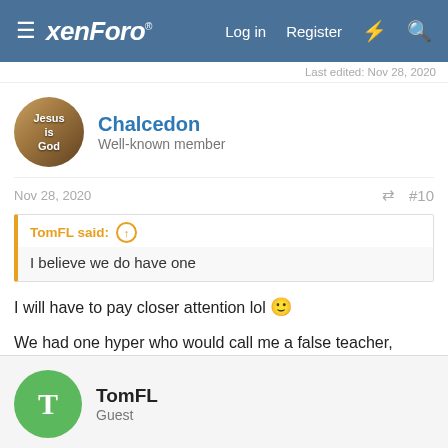xenForo — Log in  Register
Last edited: Nov 28, 2020
Chalcedon
Well-known member
Nov 28, 2020  #10
TomFL said: ↑
I believe we do have one
I will have to pay closer attention lol 🙂

We had one hyper who would call me a false teacher, heretic etc....... quit often lol.
TomFL
Guest